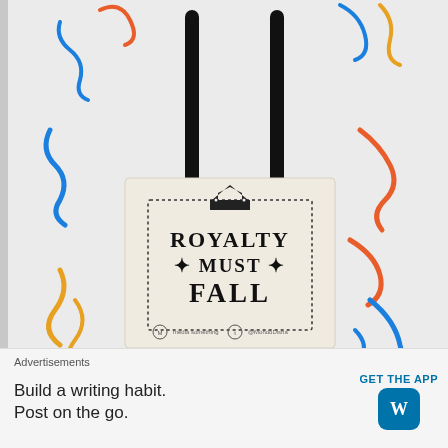[Figure (photo): A tote bag with black handles on a cream/beige background. The bag features a decorative border made of dotted lines, a crown graphic at the top, and text reading 'ROYALTY MUST FALL' in bold serif font. Small icons and text at the bottom of the bag design. Colorful scribble decorations surround the bag on a light gray background.]
Buy an MD Tote Bag!
Advertisements
Build a writing habit.
Post on the go.
GET THE APP